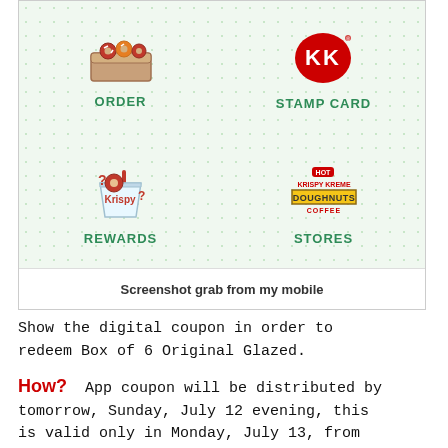[Figure (screenshot): Screenshot of Krispy Kreme mobile app showing four menu icons: ORDER (box of donuts), STAMP CARD (KK logo), REWARDS (cup with donuts), STORES (KK Doughnuts Coffee sign)]
Screenshot grab from my mobile
Show the digital coupon in order to redeem Box of 6 Original Glazed.
How? App coupon will be distributed by tomorrow, Sunday, July 12 evening, this is valid only in Monday, July 13, from 12am to 11:50pm. Coupons will be